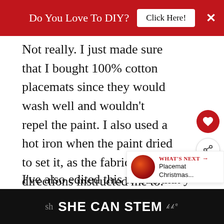Do You Love To DIY?   Click Here!   ✕
Not really. I just made sure that I bought 100% cotton placemats since they would wash well and wouldn't repel the paint. I also used a hot iron when the paint dried to set it, as the fabric bottle directions instructed me to.
I've also edited this to add that y... placement is key. I wanted my ladies to sh...
[Figure (infographic): WHAT'S NEXT arrow, Placemat Christmas... thumbnail with red circular image]
[Figure (infographic): SHE CAN STEM advertisement banner in black background]